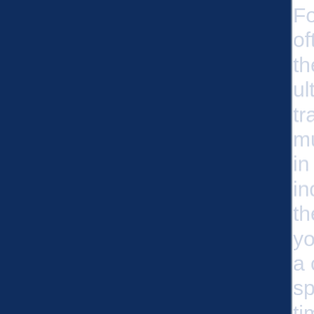Fourth of July often represents the summer's ultimate low in traffic, and pretty much everyone in the gaming industry takes the day off. If you haven't had a chance to spend some time outside in the beautiful weather, now is the perfect day to step